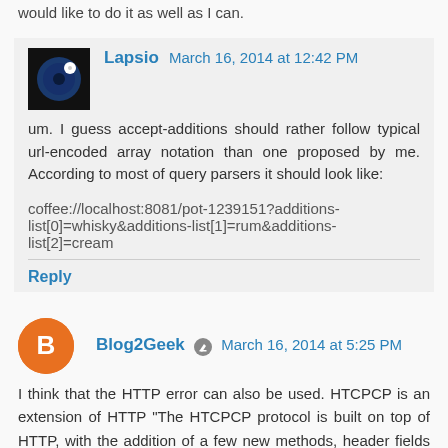would like to do it as well as I can.
Lapsio  March 16, 2014 at 12:42 PM
um. I guess accept-additions should rather follow typical url-encoded array notation than one proposed by me. According to most of query parsers it should look like:
coffee://localhost:8081/pot-1239151?additions-list[0]=whisky&additions-list[1]=rum&additions-list[2]=cream
Reply
Blog2Geek  March 16, 2014 at 5:25 PM
I think that the HTTP error can also be used. HTCPCP is an extension of HTTP "The HTCPCP protocol is built on top of HTTP, with the addition of a few new methods, header fields and return codes. "